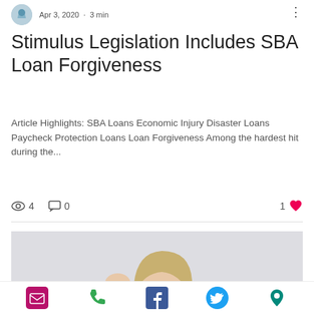Apr 3, 2020 · 3 min
Stimulus Legislation Includes SBA Loan Forgiveness
Article Highlights: SBA Loans Economic Injury Disaster Loans Paycheck Protection Loans Loan Forgiveness Among the hardest hit during the...
4 views  0 comments  1 like
[Figure (photo): Woman with blonde hair looking stressed, holding her head with one hand and a pink piggy bank with the other, against a light gray background]
Email, Phone, Facebook, Twitter, Location icons